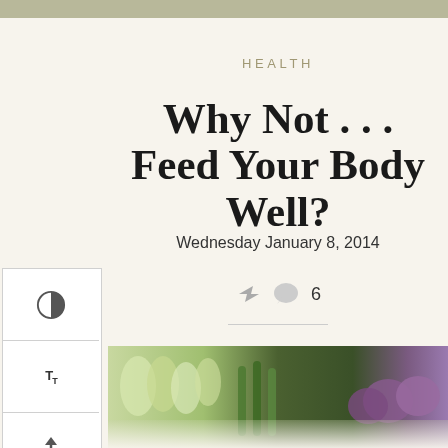HEALTH
Why Not . . . Feed Your Body Well?
Wednesday January 8, 2014
6
[Figure (photo): A colorful array of fresh vegetables and flowers at a market, including white tulips, green vegetables, and purple onions.]